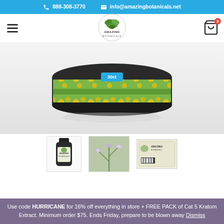888-308-3770   info@amazingbotanicals.net
[Figure (logo): Amazing Botanicals logo — circular green leaf logo with text]
[Figure (photo): Main product image: a circular tin/jar with yellow flower botanical label, '30ct' text, displayed on white reflective surface]
[Figure (photo): Thumbnail 1: small dark supplement bottle with Amazing Botanicals label]
[Figure (photo): Thumbnail 2: close-up photo of a botanical plant with small purple/white flowers]
[Figure (photo): Thumbnail 3: product label/packaging flat lay showing Amazing Botanicals label with barcode]
Use code HURRICANE for 16% off everything in store + FREE PACK of Cat 5 Kratom Extract. Minimum order $75. Ends Friday, prepare to be blown away Dismiss